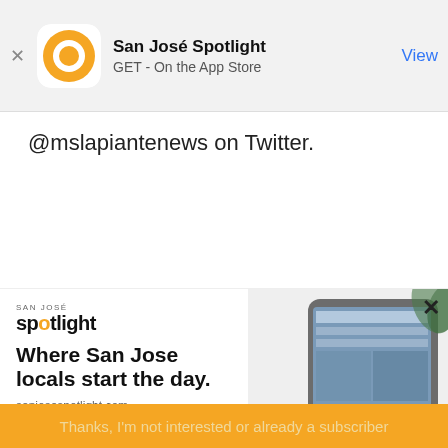[Figure (screenshot): App store banner showing San José Spotlight app with orange circular logo, app name, GET - On the App Store text, and View button]
@mslapiantenews on Twitter.
[Figure (infographic): San José Spotlight advertisement showing logo, headline 'Where San Jose locals start the day.', website URL, tablet device image, email subscription form, SUBSCRIBE button, and 'Thanks, I'm not interested or already a subscriber' link]
EMAIL ADDRESS
SUBSCRIBE
Thanks, I'm not interested or already a subscriber